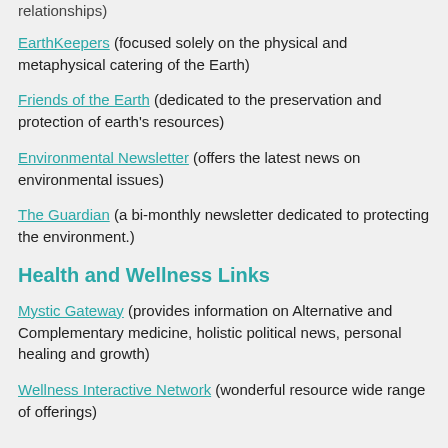relationships)
EarthKeepers (focused solely on the physical and metaphysical catering of the Earth)
Friends of the Earth (dedicated to the preservation and protection of earth's resources)
Environmental Newsletter (offers the latest news on environmental issues)
The Guardian (a bi-monthly newsletter dedicated to protecting the environment.)
Health and Wellness Links
Mystic Gateway (provides information on Alternative and Complementary medicine, holistic political news, personal healing and growth)
Wellness Interactive Network (wonderful resource wide range of offerings)